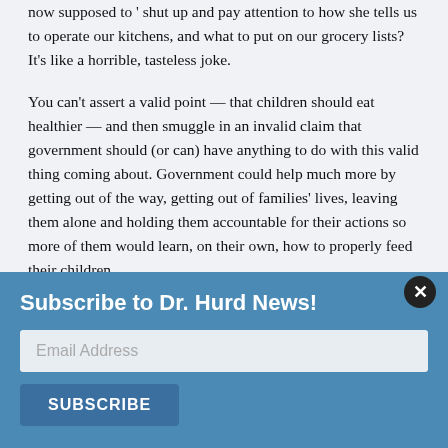now supposed to ' shut up and pay attention to how she tells us to operate our kitchens, and what to put on our grocery lists? It's like a horrible, tasteless joke.
You can't assert a valid point — that children should eat healthier — and then smuggle in an invalid claim that government should (or can) have anything to do with this valid thing coming about. Government could help much more by getting out of the way, getting out of families' lives, leaving them alone and holding them accountable for their actions so more of them would learn, on their own, how to properly feed their children.
I wouldn't defend Michelle Obama by defending people like Nancy Reagan, because Nancy Reagan had no more business telling people not to take drugs than Mrs. Obama has telling us to not eat sugared cereals. Anyone already convinced tha... dr... be... tho... str...
Na
[Figure (other): Subscribe to Dr. Hurd News popup overlay with email input field and Subscribe button, with a close (x) button in top-right corner.]